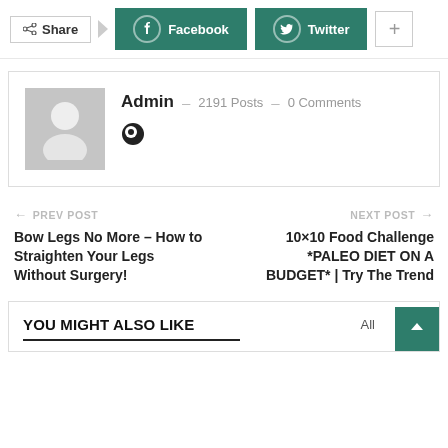Share  Facebook  Twitter  +
[Figure (photo): Author avatar placeholder - grey silhouette icon]
Admin – 2191 Posts – 0 Comments
PREV POST  Bow Legs No More – How to Straighten Your Legs Without Surgery!
NEXT POST  10×10 Food Challenge *PALEO DIET ON A BUDGET* | Try The Trend
YOU MIGHT ALSO LIKE